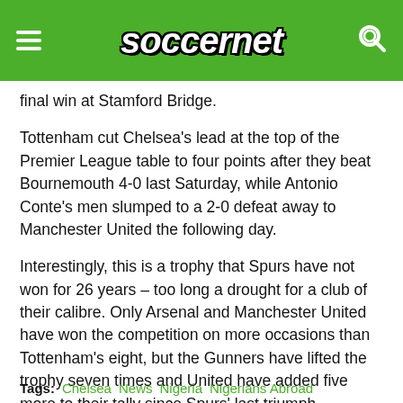soccernet
final win at Stamford Bridge.
Tottenham cut Chelsea’s lead at the top of the Premier League table to four points after they beat Bournemouth 4-0 last Saturday, while Antonio Conte’s men slumped to a 2-0 defeat away to Manchester United the following day.
Interestingly, this is a trophy that Spurs have not won for 26 years – too long a drought for a club of their calibre. Only Arsenal and Manchester United have won the competition on more occasions than Tottenham’s eight, but the Gunners have lifted the trophy seven times and United have added five more to their tally since Spurs’ last triumph.
Tags: Chelsea  News  Nigeria  Nigerians Abroad